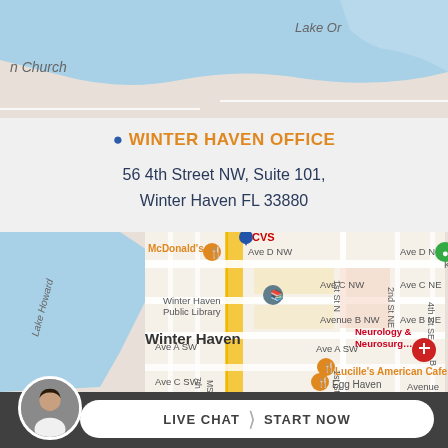[Figure (map): Top portion of a Google Maps view showing water body (Lake) in blue, road labels including 'n Church' and 'Lake Or', gray road network on beige background]
WINTER HAVEN OFFICE
56 4th Street NW, Suite 101,
Winter Haven FL 33880
[Figure (map): Google Maps view of Winter Haven, FL showing street grid with labeled roads (Ave D NW, Ave C NW, Avenue B NW, Ave A SW, Ave C SW, 1st St N, 2nd St NE, 4th St SE, 7th St S, MS 1S), landmarks including Winter Haven Public Library, McDonald's, CVS, Lucille's American Cafe, Egg Haven, Neurology & Neurosurgery, and a highlighted location pin on 4th Street NW area with yellow road highlight]
LIVE CHAT   START NOW